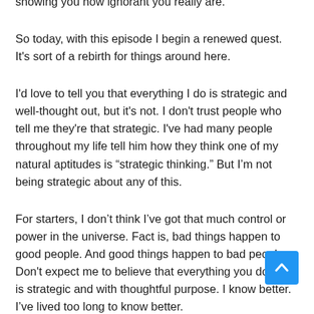showing you how ignorant you really are.
So today, with this episode I begin a renewed quest. It's sort of a rebirth for things around here.
I'd love to tell you that everything I do is strategic and well-thought out, but it's not. I don't trust people who tell me they're that strategic. I've had many people throughout my life tell him how they think one of my natural aptitudes is “strategic thinking.” But I’m not being strategic about any of this.
For starters, I don’t think I’ve got that much control or power in the universe. Fact is, bad things happen to good people. And good things happen to bad people. Don't expect me to believe that everything you do in life is strategic and with thoughtful purpose. I know better. I’ve lived too long to know better.
Today’s episode is a bit like a cooking show without a recipe.